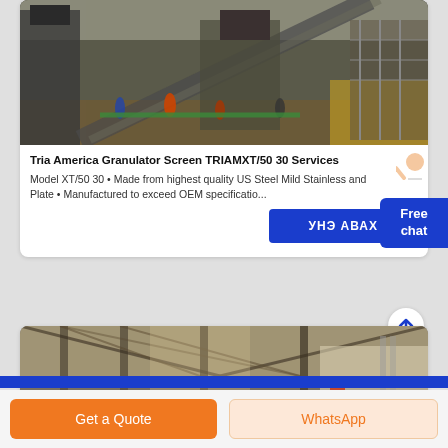[Figure (photo): Industrial site with workers and heavy machinery/conveyor equipment outdoors]
Tria America Granulator Screen TRIAMXT/50 30 Services
Model XT/50 30 • Made from highest quality US Steel Mild Stainless and Plate • Manufactured to exceed OEM specificatio...
УНЭ АВАХ
[Figure (photo): Industrial warehouse or factory interior with steel structure roof]
Get a Quote
WhatsApp